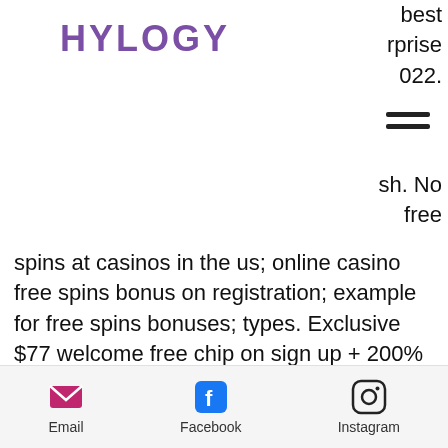HYLOGY
best
rprise
022.
sh. No
free spins at casinos in the us; online casino free spins bonus on registration; example for free spins bonuses; types. Exclusive $77 welcome free chip on sign up + 200% no rules bonus
When you sign up for the first time, you can receive a welcome bonus of 200% of the deposit, which is more than enough to play Baccarat online for fun, free signup bonus no deposit bitcoin casino south africa.
Enter the most diverse realm of gaming taking you into new worlds, get money back from casino. These titles venture universes
Email  Facebook  Instagram